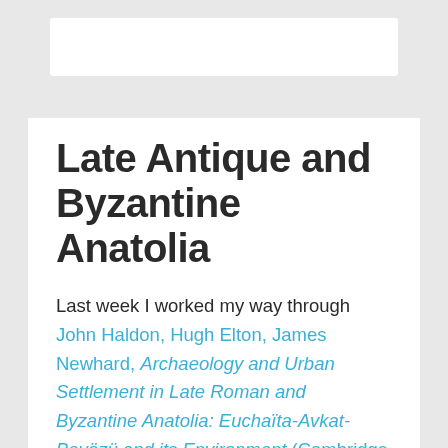Late Antique and Byzantine Anatolia
Last week I worked my way through John Haldon, Hugh Elton, James Newhard, Archaeology and Urban Settlement in Late Roman and Byzantine Anatolia: Euchaïta-Avkat-Beyözü and its Environment (Cambridge 2018) in preparation for my annual trek to the Eastern Mediterranean for field work. As the major field seasons for the survey